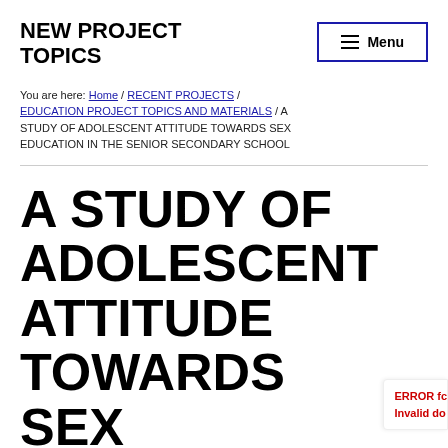NEW PROJECT TOPICS
You are here: Home / RECENT PROJECTS / EDUCATION PROJECT TOPICS AND MATERIALS / A STUDY OF ADOLESCENT ATTITUDE TOWARDS SEX EDUCATION IN THE SENIOR SECONDARY SCHOOL
A STUDY OF ADOLESCENT ATTITUDE TOWARDS SEX EDUCATION IN